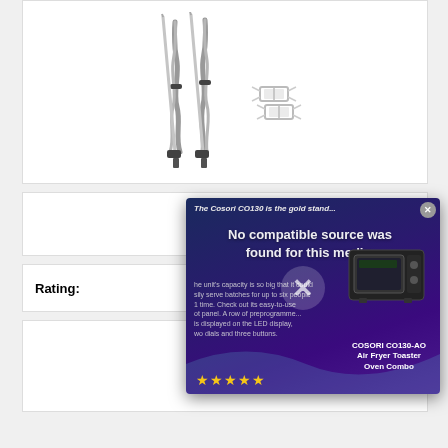[Figure (photo): Two BBQ meat probe thermometers with braided stainless steel cables and right-angle audio connectors, plus metal grill clips, shown on white background]
2 Pack P... Smo...
Rating:
[Figure (screenshot): Advertisement overlay for COSORI CO130-AO Air Fryer Toaster Oven Combo with text 'No compatible source was found for this media.' and five gold stars, with close button]